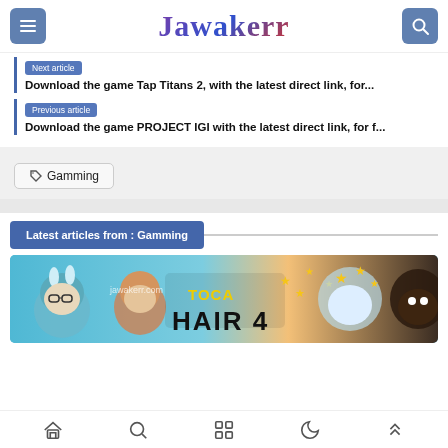Jawakerr
Next article
Download the game Tap Titans 2, with the latest direct link, for...
Previous article
Download the game PROJECT IGI with the latest direct link, for f...
Gamming
Latest articles from : Gamming
[Figure (screenshot): Screenshot of Toca Hair Salon 4 game banner showing animated cartoon characters with colorful hairstyles and the text 'TOCA HAIR 4', watermarked with jawakerr.com]